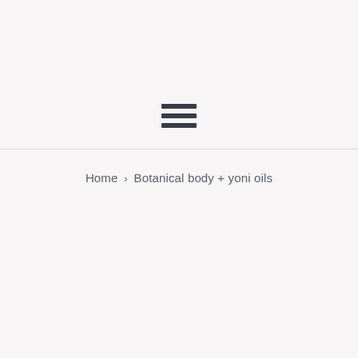[Figure (illustration): Hamburger menu icon with three horizontal dark bars]
Home › Botanical body + yoni oils